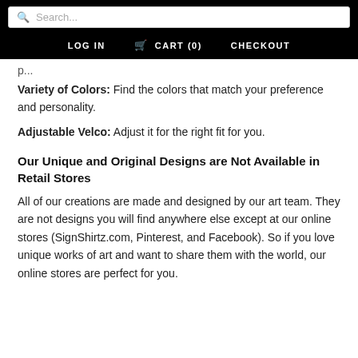Search... LOG IN CART (0) CHECKOUT
p...
Variety of Colors: Find the colors that match your preference and personality.
Adjustable Velco: Adjust it for the right fit for you.
Our Unique and Original Designs are Not Available in Retail Stores
All of our creations are made and designed by our art team. They are not designs you will find anywhere else except at our online stores (SignShirtz.com, Pinterest, and Facebook). So if you love unique works of art and want to share them with the world, our online stores are perfect for you.